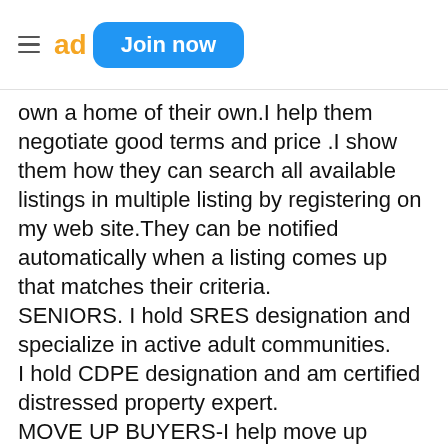ac Join now
own a home of their own.I help them negotiate good terms and price .I show them how they can search all available listings in multiple listing by registering on my web site.They can be notified automatically when a listing comes up that matches their criteria. SENIORS. I hold SRES designation and specialize in active adult communities. I hold CDPE designation and am certified distressed property expert. MOVE UP BUYERS-I help move up buyers sell their house and buy another house with as little stress as possible.I am a Seniors Real Estae specialist and specialize in